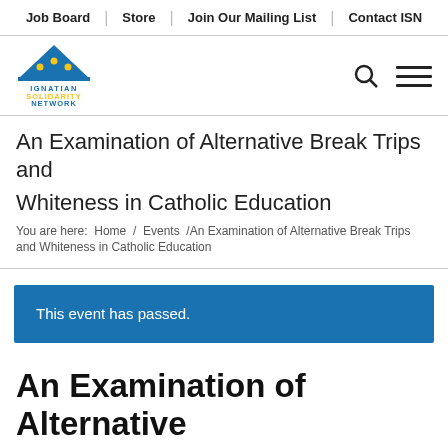Job Board | Store | Join Our Mailing List | Contact ISN
[Figure (logo): Ignatian Solidarity Network logo — blue tent/arch shape with yellow figures, text: IGNATIAN SOLIDARITY NETWORK]
An Examination of Alternative Break Trips and Whiteness in Catholic Education
You are here: Home / Events /An Examination of Alternative Break Trips and Whiteness in Catholic Education
This event has passed.
An Examination of Alternative Break Trips and Whiteness in